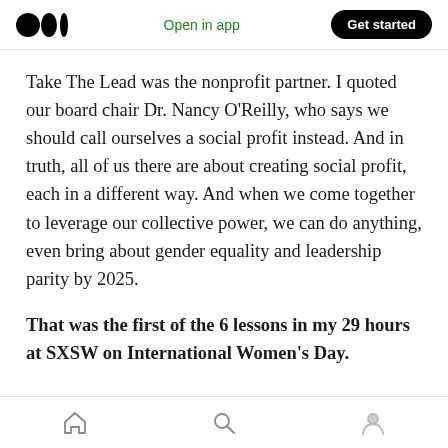Open in app | Get started
Take The Lead was the nonprofit partner. I quoted our board chair Dr. Nancy O'Reilly, who says we should call ourselves a social profit instead. And in truth, all of us there are about creating social profit, each in a different way. And when we come together to leverage our collective power, we can do anything, even bring about gender equality and leadership parity by 2025.
That was the first of the 6 lessons in my 29 hours at SXSW on International Women's Day.
Home | Search | Profile